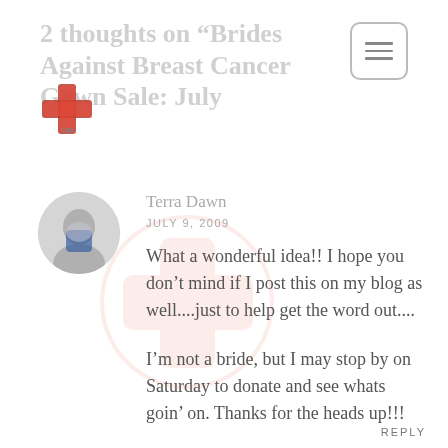2 thoughts on “Brides Against Breast Cancer Gown Sale: July
[Figure (logo): Red and white cross/medical logo mark]
Terra Dawn
JULY 9, 2009
What a wonderful idea!! I hope you don’t mind if I post this on my blog as well....just to help get the word out....
I’m not a bride, but I may stop by on Saturday to donate and see whats goin’ on. Thanks for the heads up!!!
REPLY